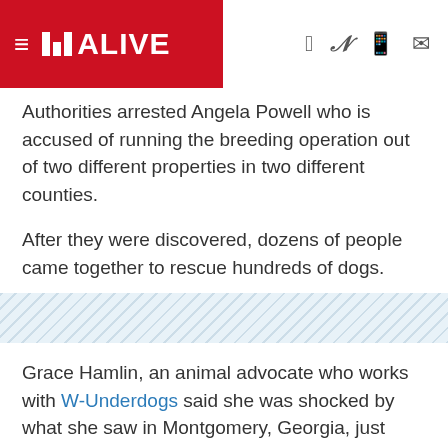11 ALIVE
Authorities arrested Angela Powell who is accused of running the breeding operation out of two different properties in two different counties.
After they were discovered, dozens of people came together to rescue hundreds of dogs.
[Figure (other): Diagonal stripe divider band]
Grace Hamlin, an animal advocate who works with W-Underdogs said she was shocked by what she saw in Montgomery, Georgia, just outside of Savannah.
"It's a nightmare to believe that people and animals live like this," she said. "It did not feel like I was in America when I was there, it felt like I was in a 3rd world country."